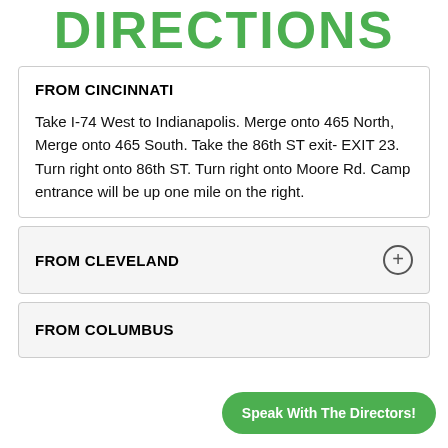DIRECTIONS
FROM CINCINNATI
Take I-74 West to Indianapolis. Merge onto 465 North, Merge onto 465 South. Take the 86th ST exit- EXIT 23. Turn right onto 86th ST. Turn right onto Moore Rd. Camp entrance will be up one mile on the right.
FROM CLEVELAND
FROM COLUMBUS
Speak With The Directors!